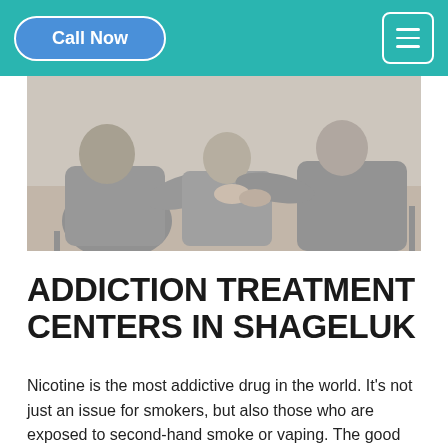Call Now
[Figure (photo): Group therapy session showing people in gray clothing sitting together, viewed from behind, hands reaching out in support]
ADDICTION TREATMENT CENTERS IN SHAGELUK
Nicotine is the most addictive drug in the world. It's not just an issue for smokers, but also those who are exposed to second-hand smoke or vaping. The good news is that there are Addiction Treatment Options available to help you overcome your addiction and get back on track with your life. Local Rehab Centers have the tools to get you started.